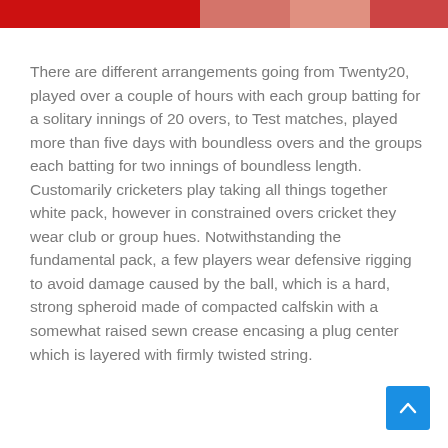[Figure (photo): Partial image strip at top of page showing red and skin-toned colors, likely a cricket-related photograph cropped at the top.]
There are different arrangements going from Twenty20, played over a couple of hours with each group batting for a solitary innings of 20 overs, to Test matches, played more than five days with boundless overs and the groups each batting for two innings of boundless length. Customarily cricketers play taking all things together white pack, however in constrained overs cricket they wear club or group hues. Notwithstanding the fundamental pack, a few players wear defensive rigging to avoid damage caused by the ball, which is a hard, strong spheroid made of compacted calfskin with a somewhat raised sewn crease encasing a plug center which is layered with firmly twisted string.
[Figure (other): Blue scroll-to-top button with upward caret arrow, positioned in bottom-right corner.]